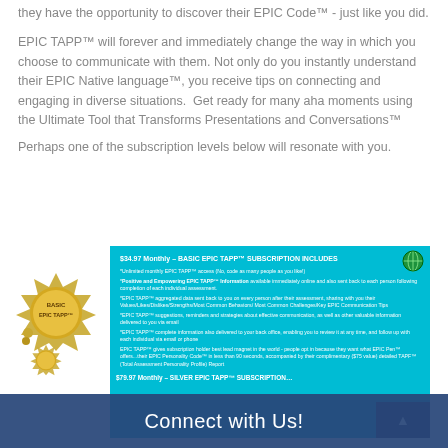they have the opportunity to discover their EPIC Code™ - just like you did.
EPIC TAPP™ will forever and immediately change the way in which you choose to communicate with them. Not only do you instantly understand their EPIC Native language™, you receive tips on connecting and engaging in diverse situations.  Get ready for many aha moments using the Ultimate Tool that Transforms Presentations and Conversations™
Perhaps one of the subscription levels below will resonate with you.
[Figure (infographic): Basic EPIC TAPP subscription marketing image showing a gold wax seal and a teal information box listing subscription features at $34.97 Monthly. Features include unlimited monthly EPIC TAPP access, positive and empowering EPIC TAPP information, aggregated data sent back to user, suggestions and strategies about effective communication, complete information delivered to back office, and EPIC TAPP lead magnet information.]
Connect with Us!